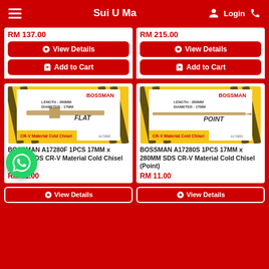Sui U Ma
RM 137.00
View Details
Add to Cart
RM 215.00
View Details
Add to Cart
[Figure (photo): BOSSMAN A17280F cold chisel flat type product image with yellow/black border, LENGTH: 280MM DIAMETER: 17MM, CR-V Material Cold Chisel label]
BOSSMAN A17280F 1PCS 17MM x 280MM SDS CR-V Material Cold Chisel (Flat)
RM 11.00
[Figure (photo): BOSSMAN A17280S cold chisel point type product image with yellow/black border, LENGTH: 280MM DIAMETER: 17MM, CR-V Material Cold Chisel label]
BOSSMAN A17280S 1PCS 17MM x 280MM SDS CR-V Material Cold Chisel (Point)
RM 11.00
View Details
View Details